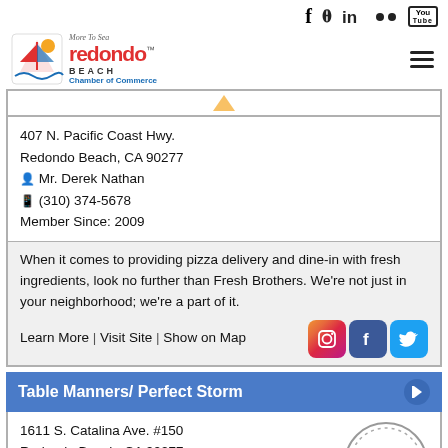Social icons: f, twitter, in, flickr, youtube | Redondo Beach Chamber of Commerce logo | hamburger menu
407 N. Pacific Coast Hwy.
Redondo Beach, CA 90277
Mr. Derek Nathan
(310) 374-5678
Member Since: 2009
When it comes to providing pizza delivery and dine-in with fresh ingredients, look no further than Fresh Brothers. We're not just in your neighborhood; we're a part of it.
Learn More | Visit Site | Show on Map
Table Manners/ Perfect Storm
1611 S. Catalina Ave. #150
Redondo Beach, CA 90277
Mr. Michael Bakert
(424) 946-9001
Member Since: 2021